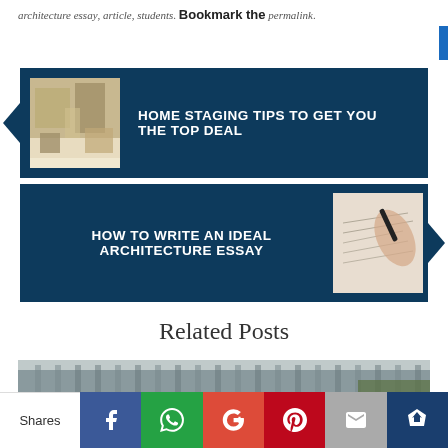architecture essay, article, students. Bookmark the permalink.
[Figure (screenshot): Navigation card: Home staging tips to get you the top deal, with room interior image on left]
[Figure (screenshot): Navigation card: How to write an ideal architecture essay, with hand writing on blueprint image on right]
Related Posts
[Figure (photo): Related posts image strip showing building/architecture exterior]
Shares